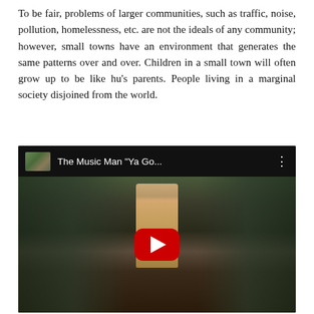To be fair, problems of larger communities, such as traffic, noise, pollution, homelessness, etc. are not the ideals of any community; however, small towns have an environment that generates the same patterns over and over. Children in a small town will often grow up to be like hu's parents. People living in a marginal society disjoined from the world.
[Figure (screenshot): YouTube video embed showing 'The Music Man "Ya Go..."' with a play button overlay. The thumbnail shows a man in a tan jacket standing outdoors with other people in period costume.]